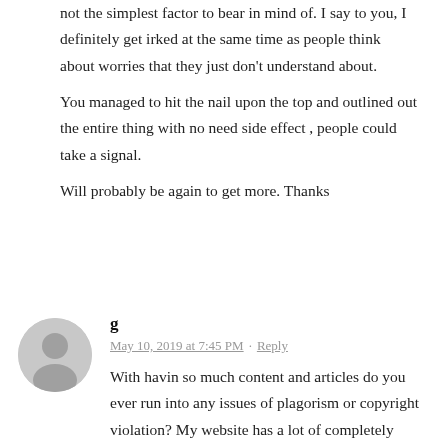not the simplest factor to bear in mind of. I say to you, I definitely get irked at the same time as people think about worries that they just don't understand about.
You managed to hit the nail upon the top and outlined out the entire thing with no need side effect , people could take a signal.
Will probably be again to get more. Thanks
[Figure (illustration): Gray circular avatar icon with a person silhouette]
g
May 10, 2019 at 7:45 PM · Reply
With havin so much content and articles do you ever run into any issues of plagorism or copyright violation? My website has a lot of completely